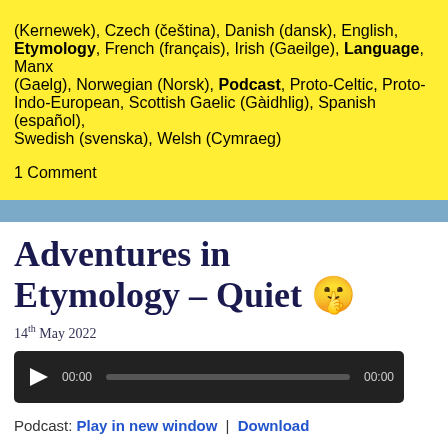(Kernewek), Czech (čeština), Danish (dansk), English, Etymology, French (français), Irish (Gaeilge), Language, Manx (Gaelg), Norwegian (Norsk), Podcast, Proto-Celtic, Proto-Indo-European, Scottish Gaelic (Gàidhlig), Spanish (español), Swedish (svenska), Welsh (Cymraeg)
1 Comment
Adventures in Etymology – Quiet 🤫
14th May 2022
[Figure (other): Audio player widget with play button, time display 00:00, progress bar, and end time 00:00]
Podcast: Play in new window | Download